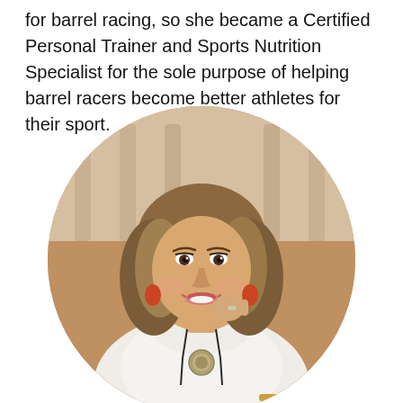for barrel racing, so she became a Certified Personal Trainer and Sports Nutrition Specialist for the sole purpose of helping barrel racers become better athletes for their sport.
[Figure (photo): A smiling young woman with long wavy blonde-highlighted hair, wearing a white turtleneck sweater and a bolo tie with a silver medallion pendant, and orange earrings. She is posing with her hand raised near her chin. The photo is cropped in a circle with a soft blurred architectural background.]